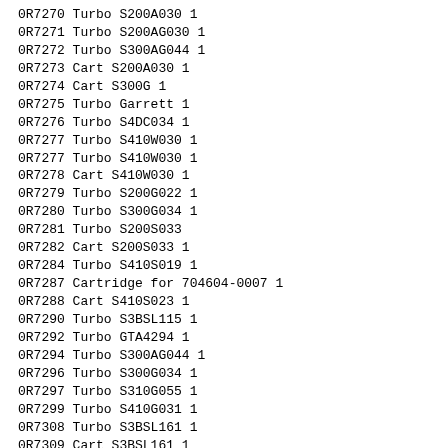0R7270 Turbo S200A030 1
0R7271 Turbo S200AG030 1
0R7272 Turbo S300AG044 1
0R7273 Cart S200A030 1
0R7274 Cart S300G 1
0R7275 Turbo Garrett  1
0R7276 Turbo S4DC034 1
0R7277 Turbo S410W030 1
0R7277 Turbo S410W030 1
0R7278 Cart S410W030 1
0R7279 Turbo S200G022 1
0R7280 Turbo S300G034 1
0R7281 Turbo S200S033
0R7282 Cart S200S033 1
0R7284 Turbo S410S019 1
0R7287 Cartridge for 704604-0007 1
0R7288 Cart S410S023 1
0R7290 Turbo S3BSL115 1
0R7292 Turbo GTA4294 1
0R7294 Turbo S300AG044 1
0R7296 Turbo S300G034 1
0R7297 Turbo S310G055 1
0R7299 Turbo S410G031 1
0R7308 Turbo S3BSL161 1
0R7309 Cart S3BSL161 1
0R7310 Turbo GTA470201BS 1
0R7442 Cart S510C004 1
0R7443 Turbo S510C004 1
0R7569 Turbo S300G071 1
0R7570 Cart S300G072 1